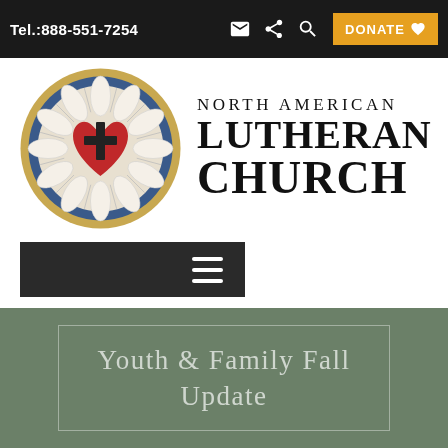Tel.:888-551-7254   DONATE
[Figure (logo): North American Lutheran Church logo — Luther Rose seal (white rose petals, red heart with black cross, blue ring, gold outer ring) with text 'NORTH AMERICAN LUTHERAN CHURCH']
[Figure (other): Dark navigation bar with hamburger menu icon (three horizontal white lines)]
Youth & Family Fall Update